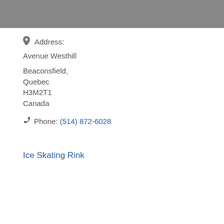[Figure (photo): Gray banner/header image at top of page]
Address:
Avenue Westhill
Beaconsfield,
Quebec
H3M2T1
Canada
Phone: (514) 872-6028
Ice Skating Rink